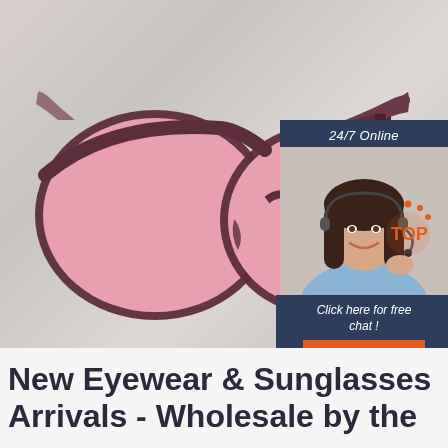[Figure (photo): Product photo of pink-lensed sunglasses with dark maroon/burgundy frames on a light grey background, with a customer service chat widget overlay in the top right showing '24/7 Online', a smiling female agent with headset, 'Click here for free chat!' text, and an orange QUOTATION button]
New Eyewear & Sunglasses Arrivals - Wholesale by the